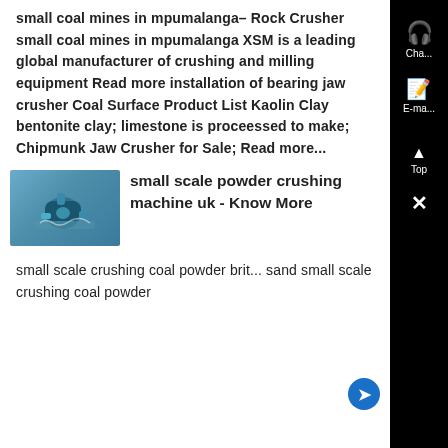small coal mines in mpumalanga– Rock Crusher small coal mines in mpumalanga XSM is a leading global manufacturer of crushing and milling equipment Read more installation of bearing jaw crusher Coal Surface Product List Kaolin Clay bentonite clay; limestone is proceessed to make; Chipmunk Jaw Crusher for Sale; Read more...
[Figure (photo): Thumbnail image of a small industrial powder crushing machine, teal/blue colored, with dust/debris visible]
small scale powder crushing machine uk - Know More
small scale crushing coal powder brit... sand small scale crushing coal powder